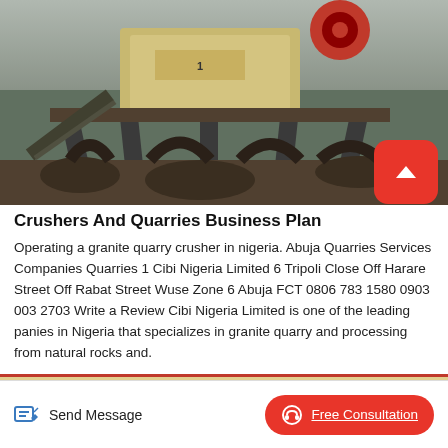[Figure (photo): Industrial stone crusher / quarry equipment machinery on a metal frame structure, photographed outdoors.]
Crushers And Quarries Business Plan
Operating a granite quarry crusher in nigeria. Abuja Quarries Services Companies Quarries 1 Cibi Nigeria Limited 6 Tripoli Close Off Harare Street Off Rabat Street Wuse Zone 6 Abuja FCT 0806 783 1580 0903 003 2703 Write a Review Cibi Nigeria Limited is one of the leading panies in Nigeria that specializes in granite quarry and processing from natural rocks and.